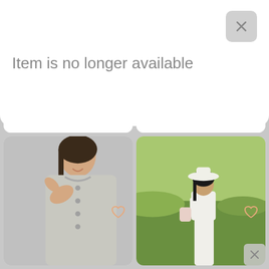Item is no longer available
[Figure (photo): Striped colorful dress on mannequin]
DR 2 Striped Colorful
$9.74
[Figure (photo): ATHLETA dark zip-up jacket on mannequin]
ATHLETA Triumph Full Zip
$ 64.99
[Figure (photo): Woman in gray cardigan holding collar]
[Figure (photo): Woman in white dress and hat in green field]